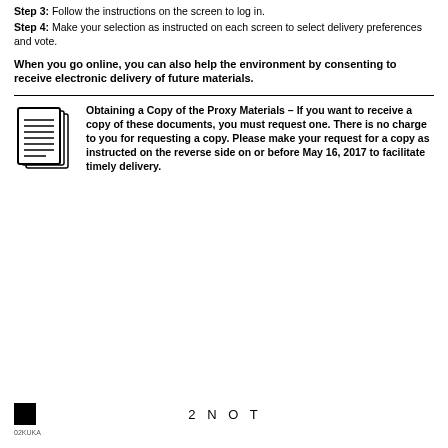Step 3: Follow the instructions on the screen to log in.
Step 4: Make your selection as instructed on each screen to select delivery preferences and vote.
When you go online, you can also help the environment by consenting to receive electronic delivery of future materials.
Obtaining a Copy of the Proxy Materials – If you want to receive a copy of these documents, you must request one. There is no charge to you for requesting a copy. Please make your request for a copy as instructed on the reverse side on or before May 16, 2017 to facilitate timely delivery.
2 N O T
02KUKA